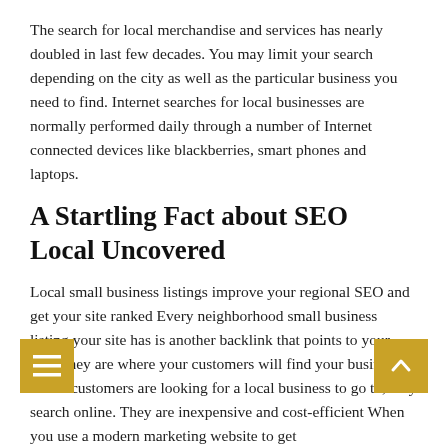The search for local merchandise and services has nearly doubled in last few decades. You may limit your search depending on the city as well as the particular business you need to find. Internet searches for local businesses are normally performed daily through a number of Internet connected devices like blackberries, smart phones and laptops.
A Startling Fact about SEO Local Uncovered
Local small business listings improve your regional SEO and get your site ranked Every neighborhood small business listing your site has is another backlink that points to your site. They are where your customers will find your business When customers are looking for a local business to go to, they search online. They are inexpensive and cost-efficient When you use a modern marketing website to get